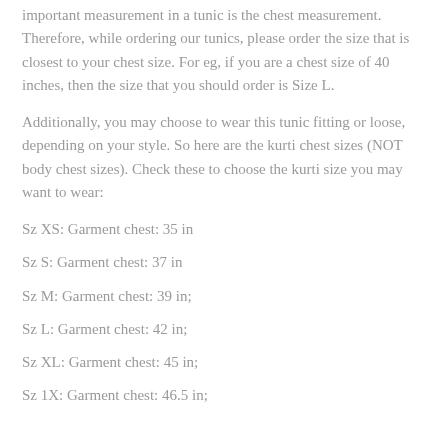important measurement in a tunic is the chest measurement. Therefore, while ordering our tunics, please order the size that is closest to your chest size. For eg, if you are a chest size of 40 inches, then the size that you should order is Size L.
Additionally, you may choose to wear this tunic fitting or loose, depending on your style. So here are the kurti chest sizes (NOT body chest sizes). Check these to choose the kurti size you may want to wear:
Sz XS: Garment chest: 35 in
Sz S: Garment chest: 37 in
Sz M: Garment chest: 39 in;
Sz L: Garment chest: 42 in;
Sz XL: Garment chest: 45 in;
Sz 1X: Garment chest: 46.5 in;